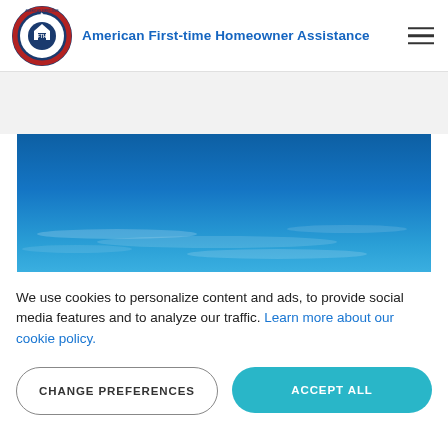[Figure (logo): American First-time Homeowner Assistance circular logo with AFTHA emblem, red/white/blue design]
American First-time Homeowner Assistance
[Figure (photo): Wide panoramic photo of blue sky with faint clouds, scenic landscape banner]
We use cookies to personalize content and ads, to provide social media features and to analyze our traffic. Learn more about our cookie policy.
CHANGE PREFERENCES
ACCEPT ALL